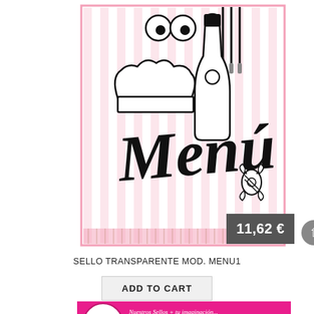[Figure (illustration): Product image of a transparent stamp (sello transparente) with cooking/party themed illustrations: chef hat, champagne bottle, paintbrushes, googly eyes, candy, and cursive text reading 'Menú'. Pink striped border frame. Price badge showing 11,62 €.]
SELLO TRANSPARENTE MOD. MENU1
ADD TO CART
[Figure (logo): Framun Scrapbooking brand banner in hot pink with white circular logo on the left and italic text on the right reading 'Nuestros Sellos + tu imaginación... Un montón de cosas Chulas' with an arrow label 'Sellos transparentes']